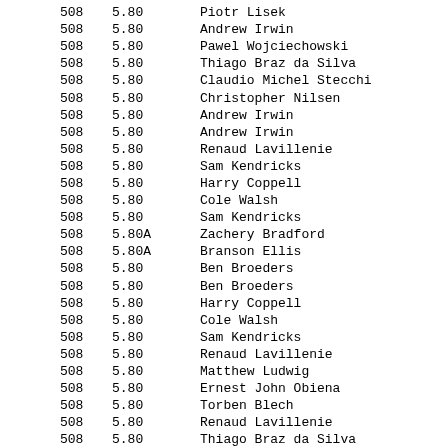| Col1 | Col2 | Name |
| --- | --- | --- |
| 508 | 5.80 | Piotr Lisek |
| 508 | 5.80 | Andrew Irwin |
| 508 | 5.80 | Pawel Wojciechowski |
| 508 | 5.80 | Thiago Braz da Silva |
| 508 | 5.80 | Claudio Michel Stecchi |
| 508 | 5.80 | Christopher Nilsen |
| 508 | 5.80 | Andrew Irwin |
| 508 | 5.80 | Andrew Irwin |
| 508 | 5.80 | Renaud Lavillenie |
| 508 | 5.80 | Sam Kendricks |
| 508 | 5.80 | Harry Coppell |
| 508 | 5.80 | Cole Walsh |
| 508 | 5.80 | Sam Kendricks |
| 508 | 5.80A | Zachery Bradford |
| 508 | 5.80A | Branson Ellis |
| 508 | 5.80 | Ben Broeders |
| 508 | 5.80 | Ben Broeders |
| 508 | 5.80 | Harry Coppell |
| 508 | 5.80 | Cole Walsh |
| 508 | 5.80 | Sam Kendricks |
| 508 | 5.80 | Renaud Lavillenie |
| 508 | 5.80 | Matthew Ludwig |
| 508 | 5.80 | Ernest John Obiena |
| 508 | 5.80 | Torben Blech |
| 508 | 5.80 | Renaud Lavillenie |
| 508 | 5.80 | Thiago Braz da Silva |
| 508 | 5.80 | Christopher Nilsen |
| 508 | 5.80 | Sam Kendricks |
| 508 | 5.80 | Piotr Lisek |
| 508 | 5.80 | Ernest John Obiena |